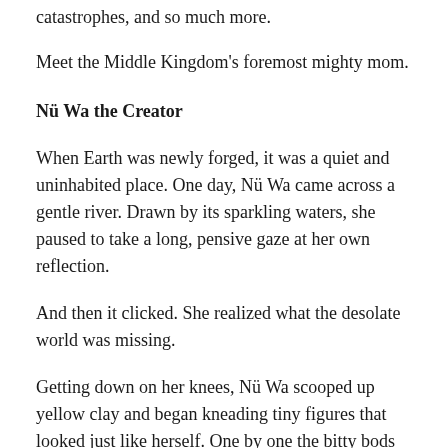catastrophes, and so much more.
Meet the Middle Kingdom's foremost mighty mom.
Nü Wa the Creator
When Earth was newly forged, it was a quiet and uninhabited place. One day, Nü Wa came across a gentle river. Drawn by its sparkling waters, she paused to take a long, pensive gaze at her own reflection.
And then it clicked. She realized what the desolate world was missing.
Getting down on her knees, Nü Wa scooped up yellow clay and began kneading tiny figures that looked just like herself. One by one the bitty bods rose up and danced.
However, this task soon proved too slow and laborious for the